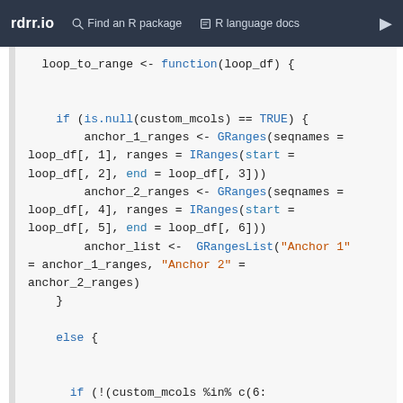rdrr.io   Find an R package   R language docs
[Figure (screenshot): R code snippet showing loop_to_range function definition with GRanges, IRanges, and GRangesList calls, plus an else branch with stop() call]